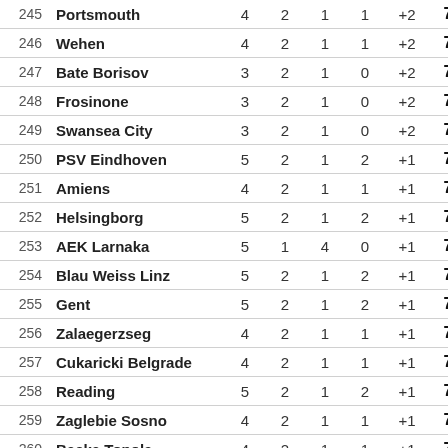| # | Club | P | W | D | L | +/- | Pts |
| --- | --- | --- | --- | --- | --- | --- | --- |
| 245 | Portsmouth | 4 | 2 | 1 | 1 | +2 | 7 |
| 246 | Wehen | 4 | 2 | 1 | 1 | +2 | 7 |
| 247 | Bate Borisov | 3 | 2 | 1 | 0 | +2 | 7 |
| 248 | Frosinone | 3 | 2 | 1 | 0 | +2 | 7 |
| 249 | Swansea City | 3 | 2 | 1 | 0 | +2 | 7 |
| 250 | PSV Eindhoven | 5 | 2 | 1 | 2 | +1 | 7 |
| 251 | Amiens | 4 | 2 | 1 | 1 | +1 | 7 |
| 252 | Helsingborg | 5 | 2 | 1 | 2 | +1 | 7 |
| 253 | AEK Larnaka | 5 | 1 | 4 | 0 | +1 | 7 |
| 254 | Blau Weiss Linz | 5 | 2 | 1 | 2 | +1 | 7 |
| 255 | Gent | 5 | 2 | 1 | 2 | +1 | 7 |
| 256 | Zalaegerzseg | 4 | 2 | 1 | 1 | +1 | 7 |
| 257 | Cukaricki Belgrade | 4 | 2 | 1 | 1 | +1 | 7 |
| 258 | Reading | 5 | 2 | 1 | 2 | +1 | 7 |
| 259 | Zaglebie Sosno | 4 | 2 | 1 | 1 | +1 | 7 |
| 260 | Backa Topola | 4 | 2 | 1 | 1 | +1 | 7 |
| 261 | Portimonense | 5 | 2 | 1 | 2 | +1 | 7 |
| 262 | Empoli | 4 | 2 | 1 | 1 | +1 | 7 |